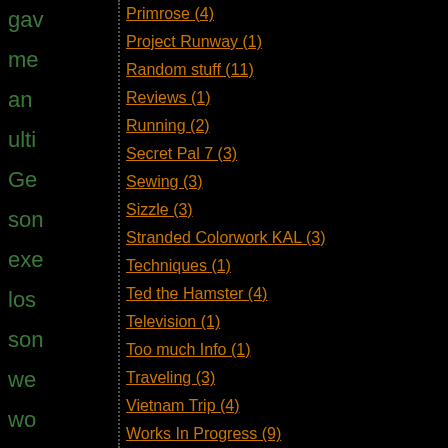gave me an ulti Ge some exe los some we wo on you hea hea or you are goi to be loo un
Primrose (4)
Project Runway (1)
Random stuff (11)
Reviews (1)
Running (2)
Secret Pal 7 (3)
Sewing (3)
Sizzle (3)
Stranded Colorwork KAL (3)
Techniques (1)
Ted the Hamster (4)
Television (1)
Too much Info (1)
Traveling (3)
Vietnam Trip (4)
Works In Progress (9)
Wyvern Socks (3)
yarn porn (8)